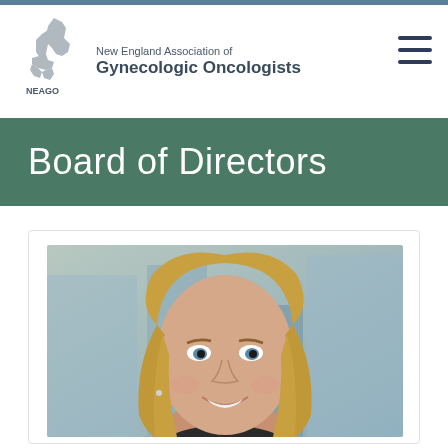New England Association of Gynecologic Oncologists
Board of Directors
[Figure (photo): Headshot of a smiling woman with blonde hair and blue eyes, in a professional setting with a blurred indoor background.]